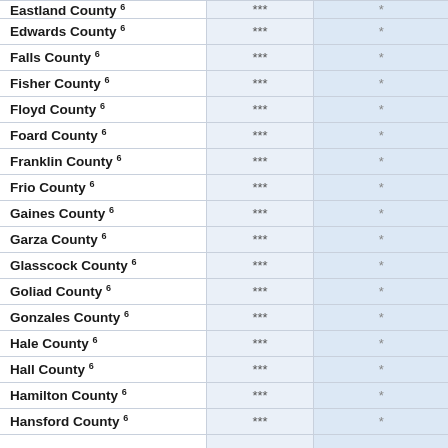| County | Column 2 | Column 3 |
| --- | --- | --- |
| Eastland County 6 | *** | * |
| Edwards County 6 | *** | * |
| Falls County 6 | *** | * |
| Fisher County 6 | *** | * |
| Floyd County 6 | *** | * |
| Foard County 6 | *** | * |
| Franklin County 6 | *** | * |
| Frio County 6 | *** | * |
| Gaines County 6 | *** | * |
| Garza County 6 | *** | * |
| Glasscock County 6 | *** | * |
| Goliad County 6 | *** | * |
| Gonzales County 6 | *** | * |
| Hale County 6 | *** | * |
| Hall County 6 | *** | * |
| Hamilton County 6 | *** | * |
| Hansford County 6 | *** | * |